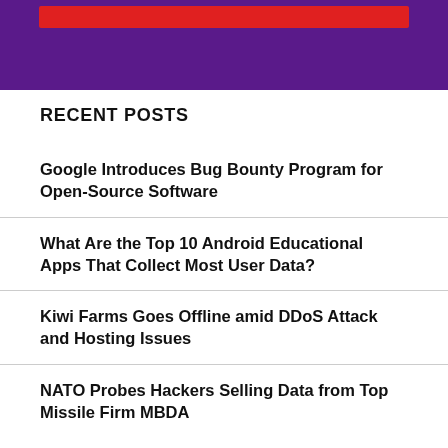[Figure (illustration): Purple banner with a red horizontal bar at the top]
RECENT POSTS
Google Introduces Bug Bounty Program for Open-Source Software
What Are the Top 10 Android Educational Apps That Collect Most User Data?
Kiwi Farms Goes Offline amid DDoS Attack and Hosting Issues
NATO Probes Hackers Selling Data from Top Missile Firm MBDA